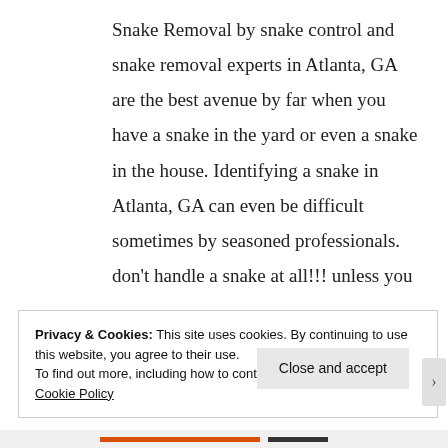Snake Removal by snake control and snake removal experts in Atlanta, GA are the best avenue by far when you have a snake in the yard or even a snake in the house. Identifying a snake in Atlanta, GA can even be difficult sometimes by seasoned professionals. don't handle a snake at all!!! unless you
Privacy & Cookies: This site uses cookies. By continuing to use this website, you agree to their use.
To find out more, including how to control cookies, see here: Cookie Policy